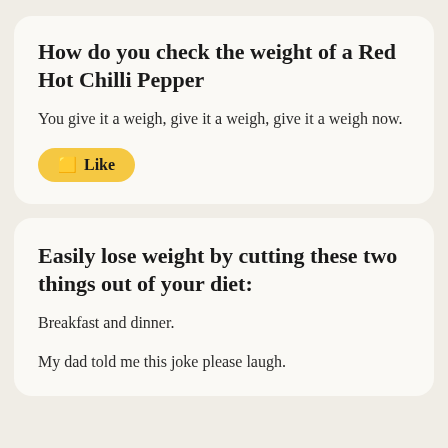How do you check the weight of a Red Hot Chilli Pepper
You give it a weigh, give it a weigh, give it a weigh now.
🟨 Like
Easily lose weight by cutting these two things out of your diet:
Breakfast and dinner.
My dad told me this joke please laugh.